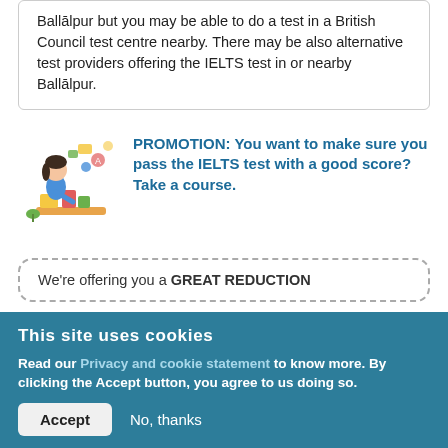Ballālpur but you may be able to do a test in a British Council test centre nearby. There may be also alternative test providers offering the IELTS test in or nearby Ballālpur.
[Figure (illustration): Illustration of a person sitting at a desk studying with books and learning icons around them]
PROMOTION: You want to make sure you pass the IELTS test with a good score? Take a course.
We're offering you a GREAT REDUCTION
This site uses cookies
Read our Privacy and cookie statement to know more. By clicking the Accept button, you agree to us doing so.
Accept   No, thanks